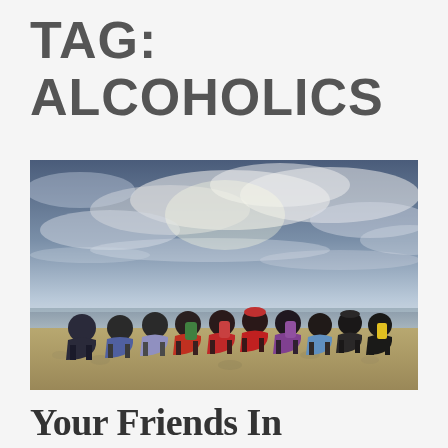TAG: ALCOHOLICS
[Figure (photo): Group of people with backpacks sitting in a row on a pebble beach, viewed from behind, facing a dramatic cloudy sky over a calm sea or lake.]
Your Friends In